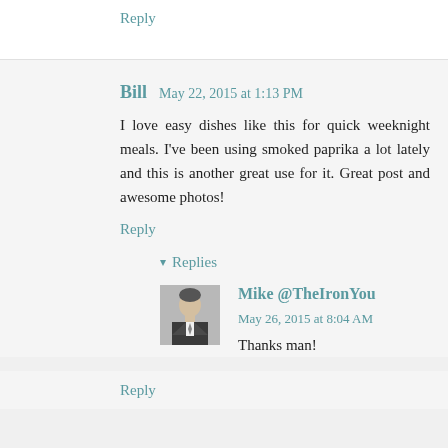Reply
Bill  May 22, 2015 at 1:13 PM
I love easy dishes like this for quick weeknight meals. I've been using smoked paprika a lot lately and this is another great use for it. Great post and awesome photos!
Reply
▼ Replies
[Figure (photo): Small avatar photo of a man in a dark suit]
Mike @TheIronYou  May 26, 2015 at 8:04 AM
Thanks man!
Reply